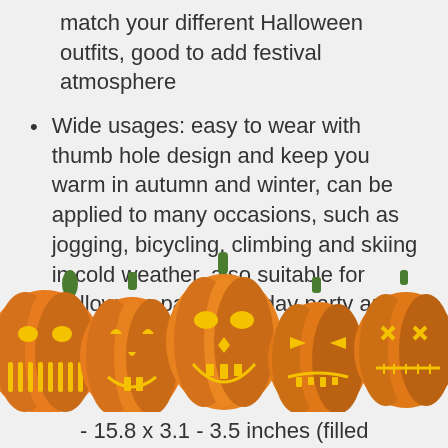match your different Halloween outfits, good to add festival atmosphere
Wide usages: easy to wear with thumb hole design and keep you warm in autumn and winter, can be applied to many occasions, such as jogging, bicycling, climbing and skiing in cold weather, also suitable for Halloween party, birthday party and so on
Gloves measurement: each
[Figure (illustration): Row of five carved Halloween jack-o-lantern pumpkins with green stems, each with different facial expressions, glowing orange and yellow, overlaid across the bottom portion of the page]
- 15.8 x 3.1 - 3.5 inches (filled